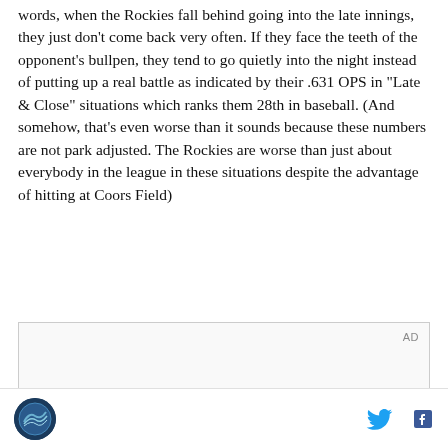words, when the Rockies fall behind going into the late innings, they just don't come back very often. If they face the teeth of the opponent's bullpen, they tend to go quietly into the night instead of putting up a real battle as indicated by their .631 OPS in "Late & Close" situations which ranks them 28th in baseball. (And somehow, that's even worse than it sounds because these numbers are not park adjusted. The Rockies are worse than just about everybody in the league in these situations despite the advantage of hitting at Coors Field)
[Figure (other): Advertisement placeholder box with 'AD' label in top right corner]
Site logo icon | Twitter icon | Facebook icon